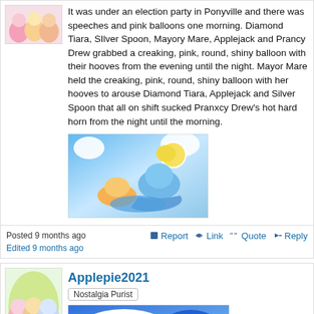[Figure (illustration): Avatar image showing My Little Pony characters in pink and orange tones]
It was under an election party in Ponyville and there was speeches and pink balloons one morning. Diamond Tiara, Silver Spoon, Mayory Mare, Applejack and Prancy Drew grabbed a creaking, pink, round, shiny balloon with their hooves from the evening until the night. Mayor Mare held the creaking, pink, round, shiny balloon with her hooves to arouse Diamond Tiara, Applejack and Silver Spoon that all on shift sucked Pranxcy Drew's hot hard horn from the night until the morning.
[Figure (illustration): My Little Pony characters at beach scene with ball]
Posted 9 months ago
Edited 9 months ago
Report | Link | Quote | Reply
[Figure (illustration): Avatar image showing My Little Pony characters]
Applepie2021
Nostalgia Purist
[Figure (illustration): Comic image with speech bubble text: I AM SO SORRY, ASPEN, I TRULY HAD NO IDEA WHAT WAS...]